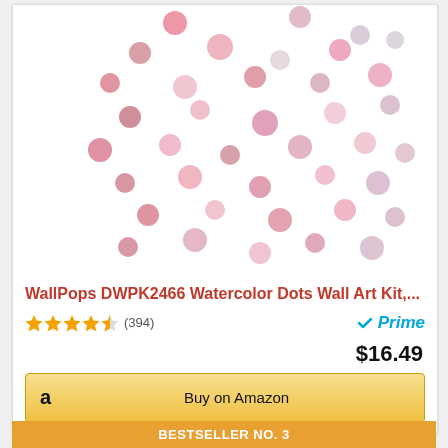[Figure (photo): Product image showing watercolor pink and mauve dot stickers scattered on white background]
WallPops DWPK2466 Watercolor Dots Wall Art Kit,...
★★★★½ (394)   ✓Prime
$16.49
Buy on Amazon